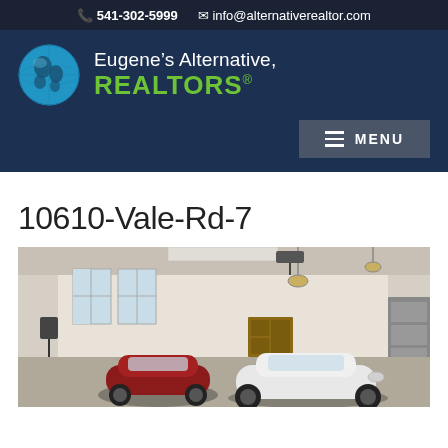📞 541-302-5999   ✉ info@alternativerealtor.com
[Figure (logo): Eugene's Alternative Realtors logo with globe icon, white text 'Eugene’s Alternative,' and green text 'REALTORS®']
10610-Vale-Rd-7
[Figure (photo): Interior photo of a spacious garage with white walls, recessed lighting, pendant lamps, windows on the left wall, a garage door opener visible on the ceiling, and two sports cars parked inside — a dark red vintage car on the left and a white Porsche on the right.]